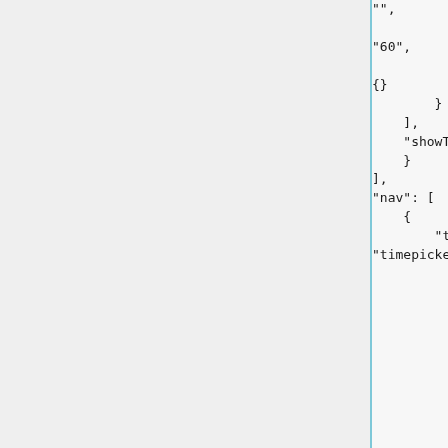"",
            "cacheTimeout":
"60",
            "aliasColors":
{}
        }
    ],
    "showTitle": true
    }
],
"nav": [
    {
        "type":
"timepicker",
            "collapse": false,
            "enable": true,
            "status": "Stable",
            "time_options": [
                "1h",
                "6h",
                "24h",
                "2d",
                "7d",
                "14d",
                "30d"